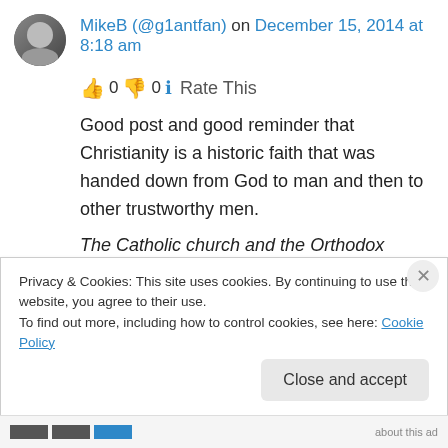MikeB (@g1antfan) on December 15, 2014 at 8:18 am
👍 0 👎 0 ℹ Rate This
Good post and good reminder that Christianity is a historic faith that was handed down from God to man and then to other trustworthy men.
The Catholic church and the Orthodox church both also rely on the oral and written traditions of the early church to help shape their
Privacy & Cookies: This site uses cookies. By continuing to use this website, you agree to their use.
To find out more, including how to control cookies, see here: Cookie Policy